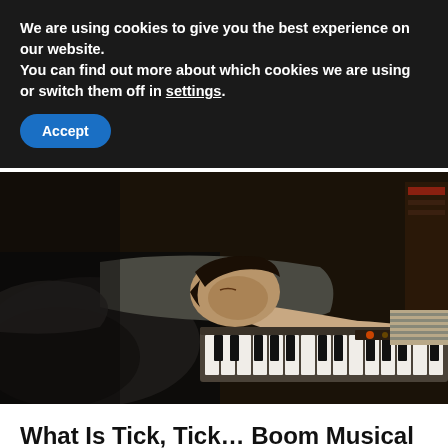We are using cookies to give you the best experience on our website.
You can find out more about which cookies we are using or switch them off in settings.
Accept
[Figure (photo): A person lying face-down on a bed or surface with their head resting on a keyboard/synthesizer, arms spread across the keys. The image is dimly lit with warm tones. Another person's arm is visible on the right side of the keyboard.]
What Is Tick, Tick… Boom Musical About
and Who is Jonathan Larson?